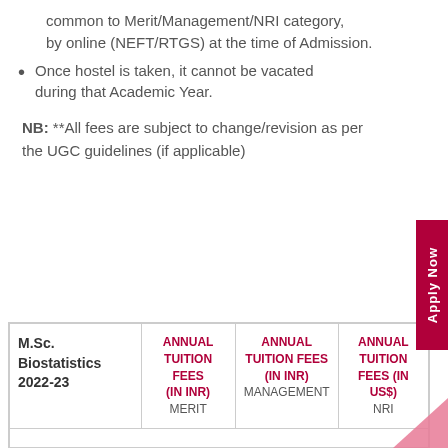common to Merit/Management/NRI category, by online (NEFT/RTGS) at the time of Admission.
Once hostel is taken, it cannot be vacated during that Academic Year.
NB: **All fees are subject to change/revision as per the UGC guidelines (if applicable)
| M.Sc. Biostatistics 2022-23 | ANNUAL TUITION FEES (IN INR) MERIT | ANNUAL TUITION FEES (IN INR) MANAGEMENT | ANNUAL TUITION FEES (IN US$) NRI |
| --- | --- | --- | --- |